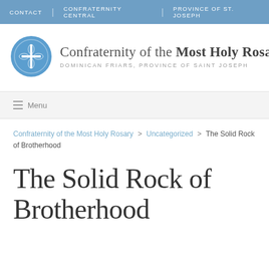CONTACT | CONFRATERNITY CENTRAL | PROVINCE OF ST. JOSEPH
[Figure (logo): Circular blue logo of the Confraternity of the Most Holy Rosary with a white cross and decorative elements]
Confraternity of the Most Holy Rosary
DOMINICAN FRIARS, PROVINCE OF SAINT JOSEPH
≡ Menu
Confraternity of the Most Holy Rosary > Uncategorized > The Solid Rock of Brotherhood
The Solid Rock of Brotherhood